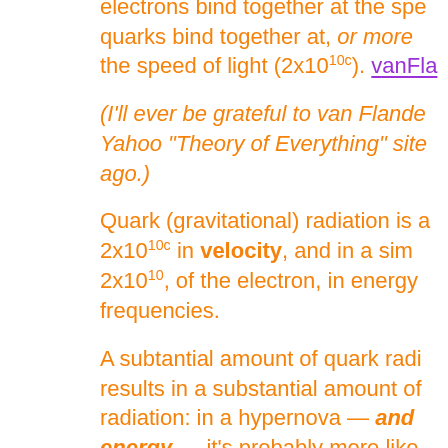electrons bind together at the speed quarks bind together at, or more the speed of light (2x10^10c). vanFla...
(I'll ever be grateful to van Flande... Yahoo "Theory of Everything" site ago.)
Quark (gravitational) radiation is a 2x10^10c in velocity, and in a sim 2x10^10, of the electron, in energy frequencies.
A subtantial amount of quark radi... results in a substantial amount of radiation: in a hypernova — and energy — it's probably more like